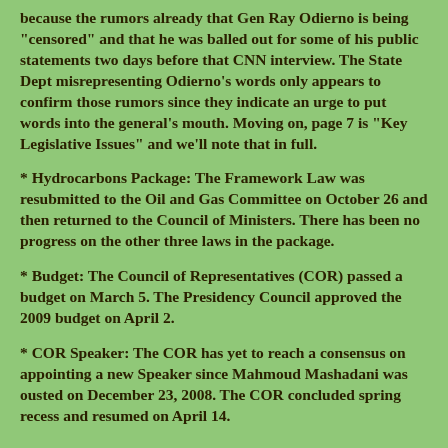because the rumors already that Gen Ray Odierno is being "censored" and that he was balled out for some of his public statements two days before that CNN interview. The State Dept misrepresenting Odierno's words only appears to confirm those rumors since they indicate an urge to put words into the general's mouth. Moving on, page 7 is "Key Legislative Issues" and we'll note that in full.
* Hydrocarbons Package: The Framework Law was resubmitted to the Oil and Gas Committee on October 26 and then returned to the Council of Ministers. There has been no progress on the other three laws in the package.
* Budget: The Council of Representatives (COR) passed a budget on March 5. The Presidency Council approved the 2009 budget on April 2.
* COR Speaker: The COR has yet to reach a consensus on appointing a new Speaker since Mahmoud Mashadani was ousted on December 23, 2008. The COR concluded spring recess and resumed on April 14.